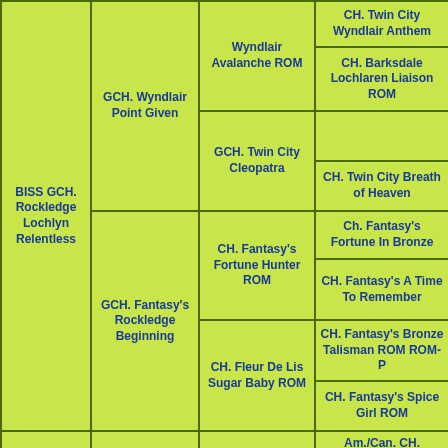| Col1 | Col2 | Col3 | Col4 |
| --- | --- | --- | --- |
| BISS GCH. Rockledge Lochlyn Relentless | GCH. Wyndlair Point Given | Wyndlair Avalanche ROM | CH. Twin City Wyndlair Anthem |
|  |  |  | CH. Barksdale Lochlaren Liaison ROM |
|  |  | GCH. Twin City Cleopatra | CH. Twin City Breath of Heaven |
|  | GCH. Fantasy's Rockledge Beginning | CH. Fantasy's Fortune Hunter ROM | Ch. Fantasy's Fortune In Bronze |
|  |  |  | CH. Fantasy's A Time To Remember |
|  |  | CH. Fleur De Lis Sugar Baby ROM | CH. Fantasy's Bronze Talisman ROM ROM-P |
|  |  |  | CH. Fantasy's Spice Girl ROM |
|  | CH. Galatean Time In a Bottle ... | Am./Can. CH. Galatean Dance With the Lion | Am./Can. CH. Alfenloch Masterpiece |
|  |  |  | Galatean Storm In a Teacup HC |